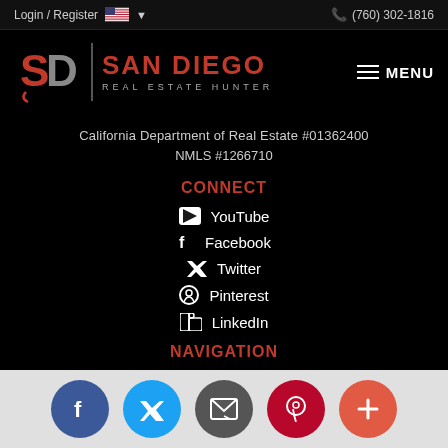Login / Register   (760) 302-1816
[Figure (logo): San Diego Real Estate Hunter logo with SD monogram in red/grey and brand name in red uppercase letters]
California Department of Real Estate #01362400
NMLS #1266710
CONNECT
YouTube
Facebook
Twitter
Pinterest
LinkedIn
NAVIGATION
[Figure (infographic): Bottom social share bar with circular buttons: Facebook (blue), Twitter (light blue), Email (grey), Pinterest (red), Plus/More (orange-red)]